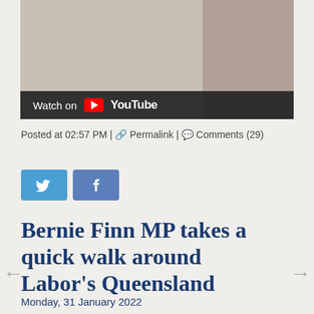[Figure (screenshot): YouTube video thumbnail showing a hand/person, with a dark 'Watch on YouTube' bar overlay at the bottom]
Posted at 02:57 PM | 🔗 Permalink | 💬 Comments (29)
[Figure (infographic): Twitter and Facebook social share buttons]
Bernie Finn MP takes a quick walk around Labor's Queensland
Monday, 31 January 2022